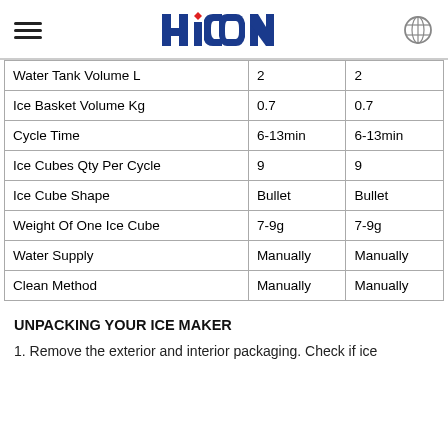HiCON
|  |  |  |
| --- | --- | --- |
| Water Tank Volume  L | 2 | 2 |
| Ice Basket Volume  Kg | 0.7 | 0.7 |
| Cycle Time | 6-13min | 6-13min |
| Ice Cubes Qty Per Cycle | 9 | 9 |
| Ice Cube Shape | Bullet | Bullet |
| Weight Of One Ice Cube | 7-9g | 7-9g |
| Water Supply | Manually | Manually |
| Clean Method | Manually | Manually |
UNPACKING YOUR ICE MAKER
1. Remove the exterior and interior packaging. Check if ice